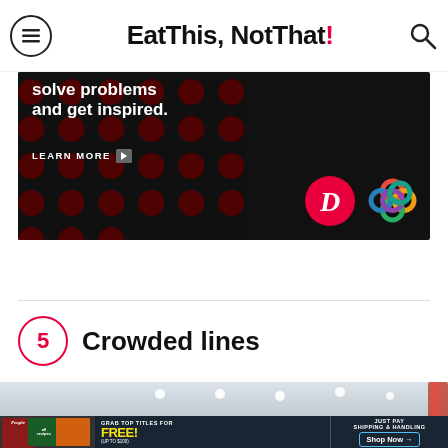Eat This, Not That!
[Figure (advertisement): Dark background ad with text 'solve problems and get inspired.' with a Learn More button, Digg logo, and colorful knot logo]
5 Crowded lines
[Figure (photo): Interior of a restaurant or store with recessed ceiling lights and a neon bar element]
[Figure (advertisement): Magazine subscription ad: Grab top titles for FREE! (up to $100). Just pay shipping & handling. Shop Now arrow. Shows People, allrecipes, and food magazine covers.]